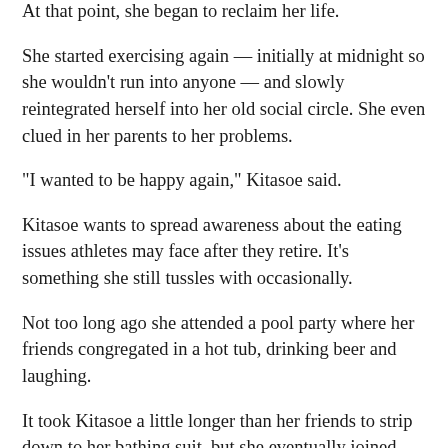At that point, she began to reclaim her life.
She started exercising again — initially at midnight so she wouldn't run into anyone — and slowly reintegrated herself into her old social circle. She even clued in her parents to her problems.
"I wanted to be happy again," Kitasoe said.
Kitasoe wants to spread awareness about the eating issues athletes may face after they retire. It's something she still tussles with occasionally.
Not too long ago she attended a pool party where her friends congregated in a hot tub, drinking beer and laughing.
It took Kitasoe a little longer than her friends to strip down to her bathing suit, but she eventually joined them in the water.
She was able to do so, she said, because of her new identity.
"I'm not boxed in and defined by being a UCLA gymnast...